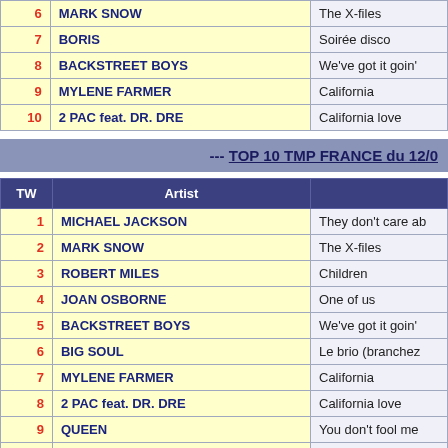| TW | Artist | Song |
| --- | --- | --- |
| 6 | MARK SNOW | The X-files |
| 7 | BORIS | Soirée disco |
| 8 | BACKSTREET BOYS | We've got it goin' |
| 9 | MYLENE FARMER | California |
| 10 | 2 PAC feat. DR. DRE | California love |
--- TOP 10 TMP FRANCE du 12/0
| TW | Artist | Song |
| --- | --- | --- |
| 1 | MICHAEL JACKSON | They don't care ab |
| 2 | MARK SNOW | The X-files |
| 3 | ROBERT MILES | Children |
| 4 | JOAN OSBORNE | One of us |
| 5 | BACKSTREET BOYS | We've got it goin' |
| 6 | BIG SOUL | Le brio (branchez |
| 7 | MYLENE FARMER | California |
| 8 | 2 PAC feat. DR. DRE | California love |
| 9 | QUEEN | You don't fool me |
| 10 | THE CRANBERRIES | Salvation |